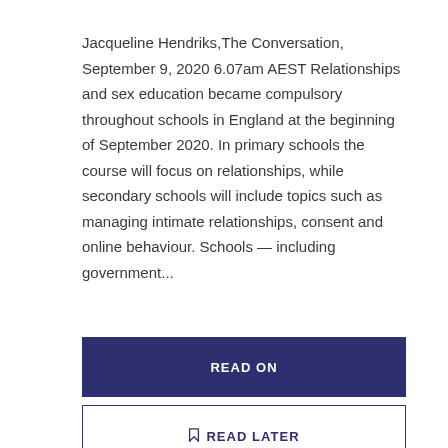Jacqueline Hendriks,The Conversation, September 9, 2020 6.07am AEST Relationships and sex education became compulsory throughout schools in England at the beginning of September 2020. In primary schools the course will focus on relationships, while secondary schools will include topics such as managing intimate relationships, consent and online behaviour. Schools — including government...
READ ON
READ LATER